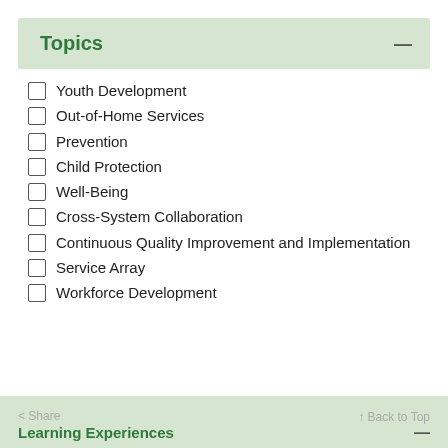Topics
Youth Development
Out-of-Home Services
Prevention
Child Protection
Well-Being
Cross-System Collaboration
Continuous Quality Improvement and Implementation
Service Array
Workforce Development
< Share   Learning Experiences   ↑ Back to Top